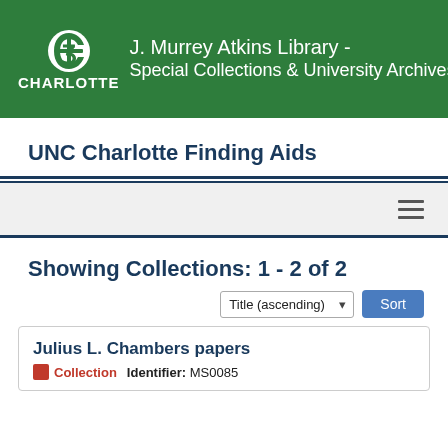[Figure (logo): UNC Charlotte / J. Murrey Atkins Library Special Collections & University Archives logo on green banner]
UNC Charlotte Finding Aids
[Figure (other): Navigation bar with hamburger menu icon]
Showing Collections: 1 - 2 of 2
Julius L. Chambers papers
Collection   Identifier: MS0085